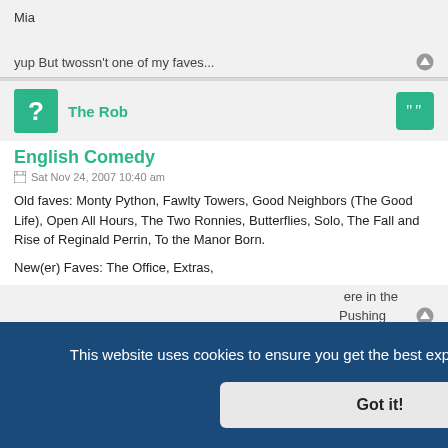Mia
yup But twossn't one of my faves...
The Rob
English Comedy
Sat Nov 24, 2007 10:40 am
Old faves: Monty Python, Fawlty Towers, Good Neighbors (The Good Life), Open All Hours, The Two Ronnies, Butterflies, Solo, The Fall and Rise of Reginald Perrin, To the Manor Born.
New(er) Faves: The Office, Extras,
This website uses cookies to ensure you get the best experience on our website.  Learn more
Got it!
English Comedy